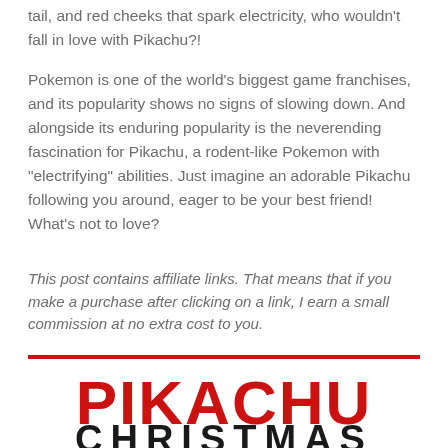tail, and red cheeks that spark electricity, who wouldn't fall in love with Pikachu?!
Pokemon is one of the world's biggest game franchises, and its popularity shows no signs of slowing down. And alongside its enduring popularity is the neverending fascination for Pikachu, a rodent-like Pokemon with “electrifying” abilities. Just imagine an adorable Pikachu following you around, eager to be your best friend! What's not to love?
This post contains affiliate links. That means that if you make a purchase after clicking on a link, I earn a small commission at no extra cost to you.
PIKACHU CHRISTMAS